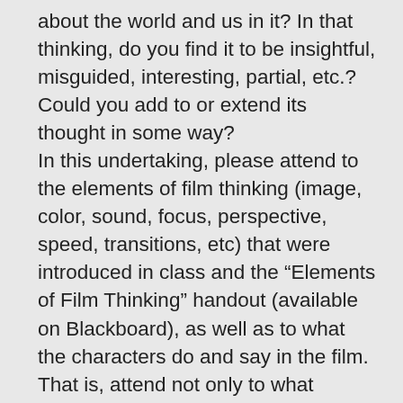about the world and us in it? In that thinking, do you find it to be insightful, misguided, interesting, partial, etc.? Could you add to or extend its thought in some way? In this undertaking, please attend to the elements of film thinking (image, color, sound, focus, perspective, speed, transitions, etc) that were introduced in class and the “Elements of Film Thinking” handout (available on Blackboard), as well as to what the characters do and say in the film. That is, attend not only to what events and characters the film presents, but to how it presents them as well. The film you have been assigned is likely to be the subject of some insightful discussion already, and a research trip to the library (or an hour or two on the various library databases available online) would be highly recommended. Please make use of this but do not rely